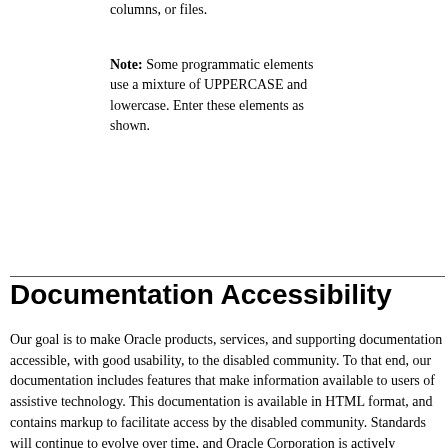columns, or files.
Note: Some programmatic elements use a mixture of UPPERCASE and lowercase. Enter these elements as shown.
Documentation Accessibility
Our goal is to make Oracle products, services, and supporting documentation accessible, with good usability, to the disabled community. To that end, our documentation includes features that make information available to users of assistive technology. This documentation is available in HTML format, and contains markup to facilitate access by the disabled community. Standards will continue to evolve over time, and Oracle Corporation is actively engaged with other market-leading technology vendors to address technical obstacles so that our documentation can be accessible to